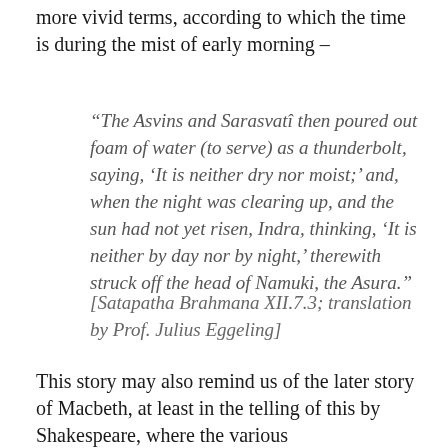more vivid terms, according to which the time is during the mist of early morning –
“The Asvins and Sarasvatî then poured out foam of water (to serve) as a thunderbolt, saying, ‘It is neither dry nor moist;’ and, when the night was clearing up, and the sun had not yet risen, Indra, thinking, ‘It is neither by day nor by night,’ therewith struck off the head of Namuki, the Asura.”
[Satapatha Brahmana XII.7.3; translation by Prof. Julius Eggeling]
This story may also remind us of the later story of Macbeth, at least in the telling of this by Shakespeare, where the various